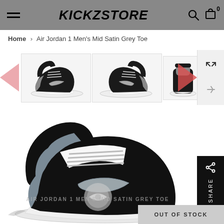KICKZSTORE
Home > Air Jordan 1 Men's Mid Satin Grey Toe
[Figure (photo): Thumbnail strip showing 4 views of the Air Jordan 1 Men's Mid Satin Grey Toe sneaker with left and right navigation arrows]
[Figure (photo): Large main product image of Air Jordan 1 Men's Mid Satin Grey Toe sneaker, black and grey colorway, showing the shoe from a front-left angle]
AIR JORDAN 1 MEN'S MID SATIN GREY TOE
OUT OF STOCK
SHARE